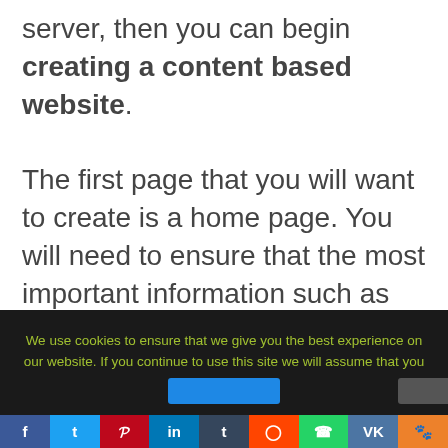server, then you can begin creating a content based website. The first page that you will want to create is a home page. You will need to ensure that the most important information such as your name, address, contact details, company
We use cookies to ensure that we give you the best experience on our website. If you continue to use this site we will assume that you are happy with it.
f  t  P  in  t  r  W  VK  au